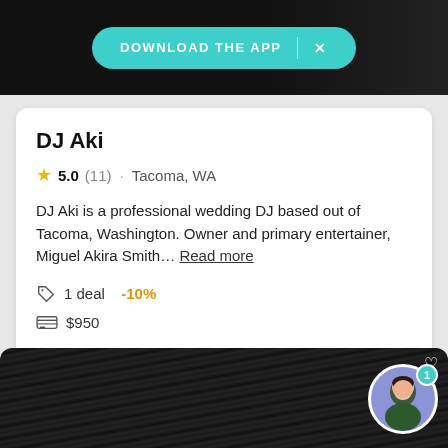[Figure (screenshot): Dark background top banner area with DJ equipment/mixer visible]
DOWNLOAD THE APP
DJ Aki
5.0 (11) · Tacoma, WA
DJ Aki is a professional wedding DJ based out of Tacoma, Washington. Owner and primary entertainer, Miguel Akira Smith... Read more
1 deal  -10%
$950
Request pricing
[Figure (photo): Dark wood texture background with avatar icon in bottom right corner]